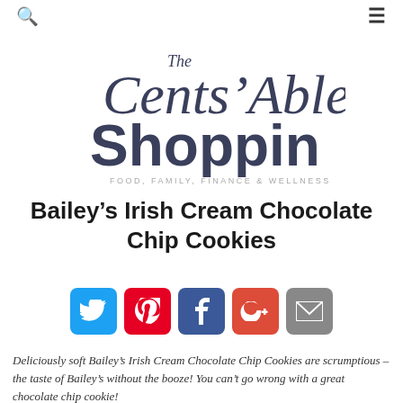Search | Menu
[Figure (logo): The Cents' Able Shoppin logo with tagline: FOOD, FAMILY, FINANCE & WELLNESS]
Bailey's Irish Cream Chocolate Chip Cookies
[Figure (infographic): Social sharing buttons: Twitter, Pinterest, Facebook, Google+, Email]
Deliciously soft Bailey's Irish Cream Chocolate Chip Cookies are scrumptious – the taste of Bailey's without the booze! You can't go wrong with a great chocolate chip cookie!